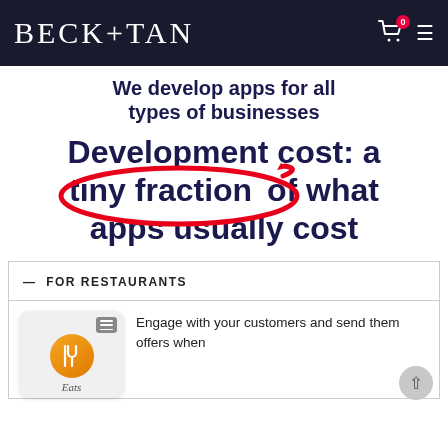BECK+TAN
We develop apps for all types of businesses
Development cost: a tiny fraction of what apps usually cost
— FOR RESTAURANTS
Engage with your customers and send them offers when